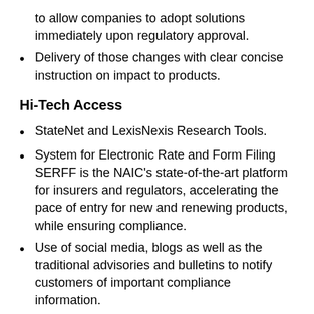to allow companies to adopt solutions immediately upon regulatory approval.
Delivery of those changes with clear concise instruction on impact to products.
Hi-Tech Access
StateNet and LexisNexis Research Tools.
System for Electronic Rate and Form Filing SERFF is the NAIC's state-of-the-art platform for insurers and regulators, accelerating the pace of entry for new and renewing products, while ensuring compliance.
Use of social media, blogs as well as the traditional advisories and bulletins to notify customers of important compliance information.